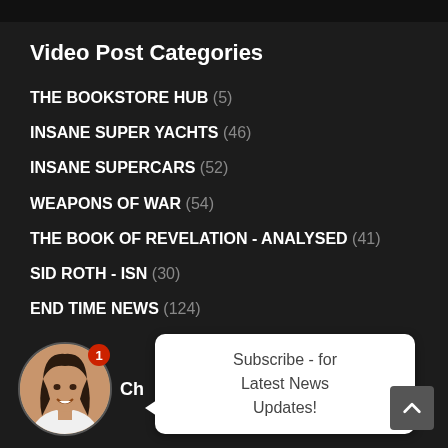Video Post Categories
THE BOOKSTORE HUB (5)
INSANE SUPER YACHTS (46)
INSANE SUPERCARS (52)
WEAPONS OF WAR (54)
THE BOOK OF REVELATION - ANALYSED (41)
SID ROTH - ISN (30)
END TIME NEWS (124)
AWESOME ARCHITECTURE (3)
[Figure (screenshot): Notification popup with avatar photo of a smiling woman and a speech bubble saying 'Subscribe - for Latest News Updates!' with a back-to-top arrow button in the corner]